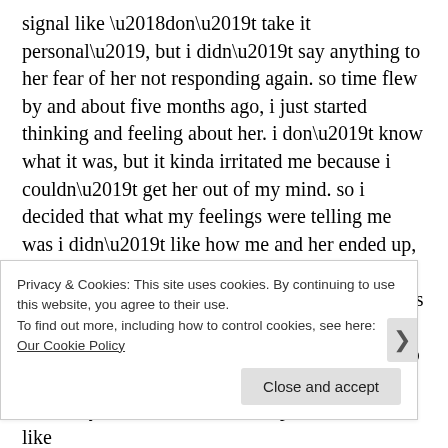signal like ‘don’t take it personal’, but i didn’t say anything to her fear of her not responding again. so time flew by and about five months ago, i just started thinking and feeling about her. i don’t know what it was, but it kinda irritated me because i couldn’t get her out of my mind. so i decided that what my feelings were telling me was i didn’t like how me and her ended up, so i started to apply the Law of Attraction regarding her. i started to hear her name as well as synchronicities. i was feeling good. i found out that she still works on the same street i live on, so i figured there was a good chance to see her, and definitely see her at the casino up the street we like
Privacy & Cookies: This site uses cookies. By continuing to use this website, you agree to their use.
To find out more, including how to control cookies, see here: Our Cookie Policy
Close and accept